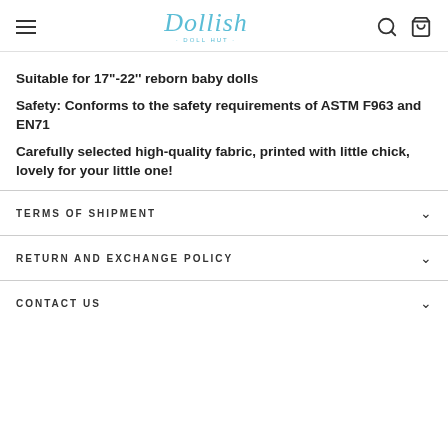Dollish — Navigation header with logo, search and cart icons
Suitable for 17"-22'' reborn baby dolls
Safety: Conforms to the safety requirements of ASTM F963 and EN71
Carefully selected high-quality fabric, printed with little chick, lovely for your little one!
TERMS OF SHIPMENT
RETURN AND EXCHANGE POLICY
CONTACT US